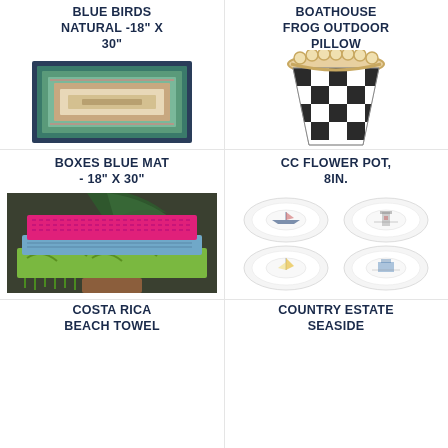BLUE BIRDS NATURAL -18" X 30"
[Figure (photo): Rectangular woven rug/mat with blue, teal, green and pink concentric border stripes on a natural background]
BOATHOUSE FROG OUTDOOR PILLOW
[Figure (photo): Black and white checkered flower pot with scalloped gold-rimmed edge, bowl/planter shape]
BOXES BLUE MAT - 18" X 30"
CC FLOWER POT, 8IN.
[Figure (photo): Stacked colorful beach towels in green, pink/fuchsia, and blue with tassels, displayed on a stand with tropical greenery]
[Figure (photo): Set of four white salad/dessert plates with nautical seaside illustrations including sailboats and lighthouse scenes]
COSTA RICA BEACH TOWEL
COUNTRY ESTATE SEASIDE ASSORTED